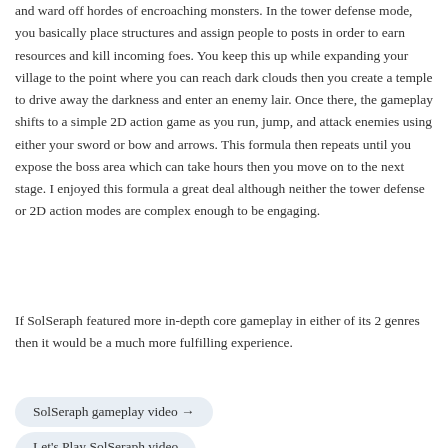and ward off hordes of encroaching monsters. In the tower defense mode, you basically place structures and assign people to posts in order to earn resources and kill incoming foes. You keep this up while expanding your village to the point where you can reach dark clouds then you create a temple to drive away the darkness and enter an enemy lair. Once there, the gameplay shifts to a simple 2D action game as you run, jump, and attack enemies using either your sword or bow and arrows. This formula then repeats until you expose the boss area which can take hours then you move on to the next stage. I enjoyed this formula a great deal although neither the tower defense or 2D action modes are complex enough to be engaging.
If SolSeraph featured more in-depth core gameplay in either of its 2 genres then it would be a much more fulfilling experience.
SolSeraph gameplay video →
Let's Play SolSeraph video